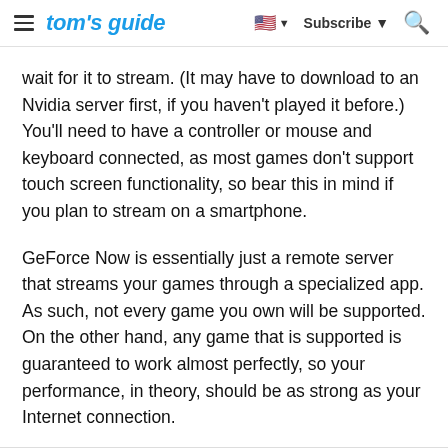tom's guide | Subscribe | Search
wait for it to stream. (It may have to download to an Nvidia server first, if you haven't played it before.) You'll need to have a controller or mouse and keyboard connected, as most games don't support touch screen functionality, so bear this in mind if you plan to stream on a smartphone.
GeForce Now is essentially just a remote server that streams your games through a specialized app. As such, not every game you own will be supported. On the other hand, any game that is supported is guaranteed to work almost perfectly, so your performance, in theory, should be as strong as your Internet connection.